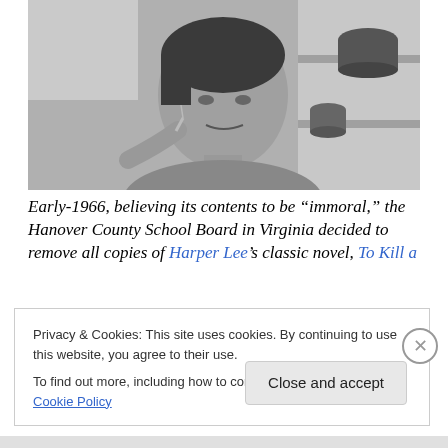[Figure (photo): Black and white photograph of Harper Lee, a woman with short dark hair, sitting and holding a cigarette, looking at the camera with a neutral expression. Shelves with pottery visible in the background.]
Early-1966, believing its contents to be “immoral,” the Hanover County School Board in Virginia decided to remove all copies of Harper Lee’s classic novel, To Kill a
Privacy & Cookies: This site uses cookies. By continuing to use this website, you agree to their use.
To find out more, including how to control cookies, see here: Cookie Policy
Close and accept